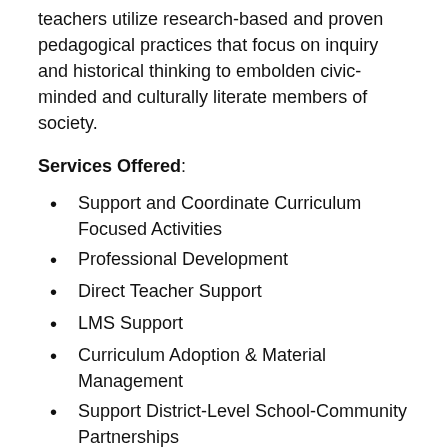teachers utilize research-based and proven pedagogical practices that focus on inquiry and historical thinking to embolden civic-minded and culturally literate members of society.
Services Offered:
Support and Coordinate Curriculum Focused Activities
Professional Development
Direct Teacher Support
LMS Support
Curriculum Adoption & Material Management
Support District-Level School-Community Partnerships
State and National Standards